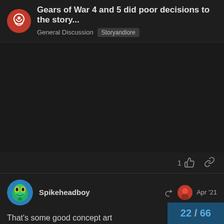Gears of War 4 and 5 did poor decisions to the story...
General Discussion  Storyandlore
1
Spikeheadboy
Apr '21
That's some good concept art
22 / 66